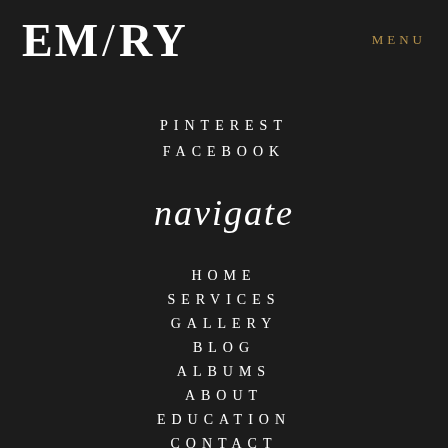EM/RY
MENU
PINTEREST
FACEBOOK
navigate
HOME
SERVICES
GALLERY
BLOG
ALBUMS
ABOUT
EDUCATION
CONTACT